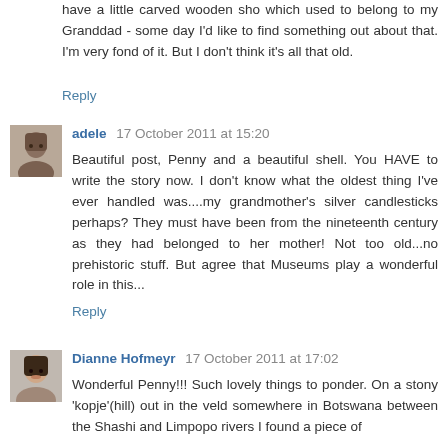have a little carved wooden sho which used to belong to my Granddad - some day I'd like to find something out about that. I'm very fond of it. But I don't think it's all that old.
Reply
adele  17 October 2011 at 15:20
Beautiful post, Penny and a beautiful shell. You HAVE to write the story now. I don't know what the oldest thing I've ever handled was....my grandmother's silver candlesticks perhaps? They must have been from the nineteenth century as they had belonged to her mother! Not too old...no prehistoric stuff. But agree that Museums play a wonderful role in this...
Reply
Dianne Hofmeyr  17 October 2011 at 17:02
Wonderful Penny!!! Such lovely things to ponder. On a stony 'kopje'(hill) out in the veld somewhere in Botswana between the Shashi and Limpopo rivers I found a piece of